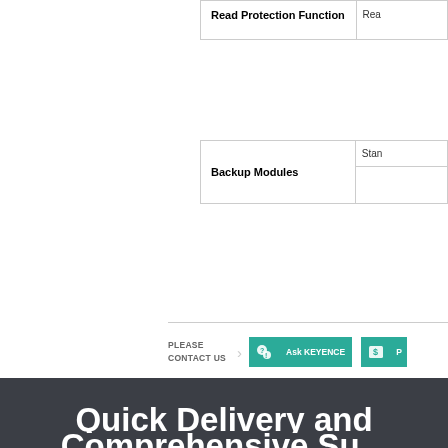| Feature | Value |
| --- | --- |
| Read Protection Function | Rea... |
| Feature | Value |
| --- | --- |
| Backup Modules | Stan... |
|  |  |
PLEASE CONTACT US > Ask KEYENCE
Quick Delivery and Comprehensive Su...